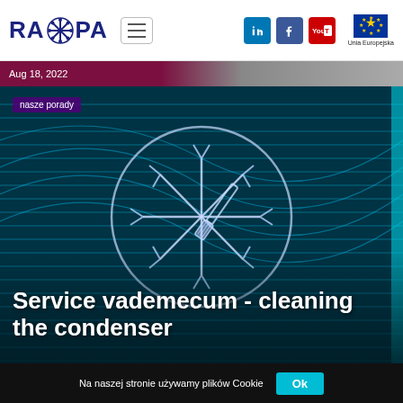[Figure (logo): RAPA company logo with snowflake icon in dark blue]
[Figure (illustration): Navigation hamburger menu button]
[Figure (logo): LinkedIn, Facebook, YouTube social media icons and EU flag with Unia Europejska label]
Aug 18, 2022
[Figure (photo): Dark teal/blue colored AC condenser unit background with glowing lines and a snowflake+brush icon in a circle overlay]
nasze porady
Service vademecum - cleaning the condenser
Na naszej stronie używamy plików Cookie